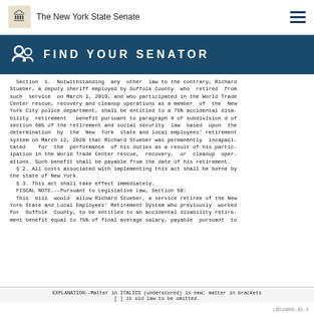The New York State Senate
FIND YOUR SENATOR
Section 1. Notwithstanding any other law to the contrary, Richard Stueber, a deputy sheriff employed by Suffolk County who retired from such service on March 1, 2019, and who participated in the World Trade Center rescue, recovery and cleanup operations as a member of the New York City police department, shall be entitled to a 75% accidental disability retirement benefit pursuant to paragraph 4 of subdivision d of section 605 of the retirement and social security law based upon the determination by the New York state and local employees' retirement system on March 12, 2020 that Richard Stueber was permanently incapacitated for the performance of his duties as a result of his participation in the World Trade Center rescue, recovery, or cleanup operations. Such benefit shall be payable from the date of his retirement.
 § 2. All costs associated with implementing this act shall be borne by the state of New York.
 § 3. This act shall take effect immediately.
 FISCAL NOTE.--Pursuant to Legislative Law, Section 50:
 This bill would allow Richard Stueber, a service retiree of the New York State and Local Employees' Retirement System who previously worked for Suffolk County, to be entitled to an accidental disability retirement benefit equal to 75% of final average salary, payable pursuant to
EXPLANATION--Matter in ITALICS (underscored) is new; matter in brackets [ ] is old law to be omitted.